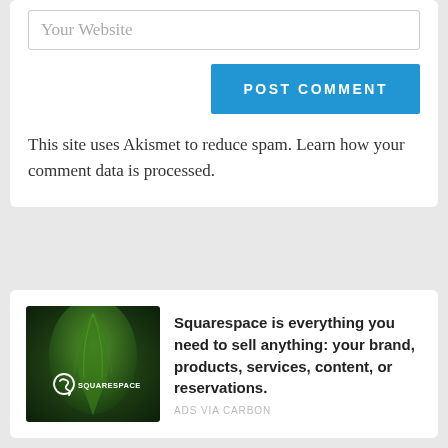Your Website
POST COMMENT
This site uses Akismet to reduce spam. Learn how your comment data is processed.
[Figure (logo): Squarespace advertisement image with green leaf background and Squarespace logo in white]
Squarespace is everything you need to sell anything: your brand, products, services, content, or reservations.
ADS VIA CARBON